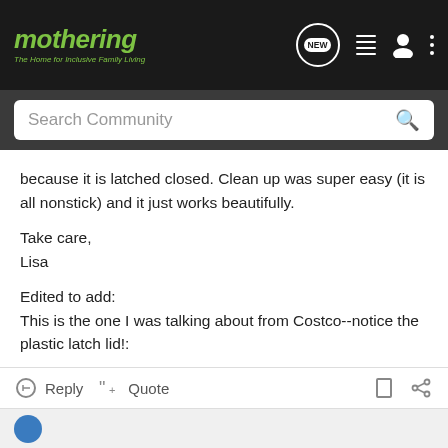mothering – The Home for Inclusive Family Living
because it is latched closed. Clean up was super easy (it is all nonstick) and it just works beautifully.

Take care,
Lisa

Edited to add:
This is the one I was talking about from Costco--notice the plastic latch lid!:

http://www.costco.com/frameset.asp?t...did=34766&log=
Reply  Quote  [bookmark] [share]